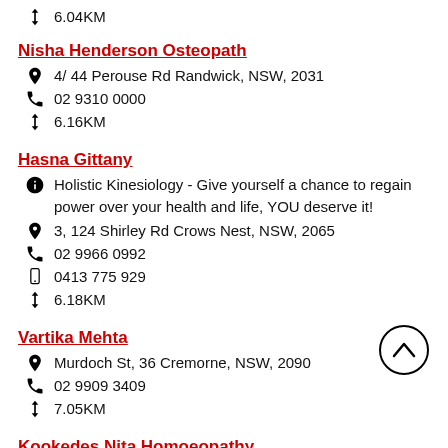6.04KM
Nisha Henderson Osteopath
4/ 44 Perouse Rd Randwick, NSW, 2031
02 9310 0000
6.16KM
Hasna Gittany
Holistic Kinesiology - Give yourself a chance to regain power over your health and life, YOU deserve it!
3, 124 Shirley Rd Crows Nest, NSW, 2065
02 9966 0992
0413 775 929
6.18KM
Vartika Mehta
Murdoch St, 36 Cremorne, NSW, 2090
02 9909 3409
7.05KM
Kookedes Nita Homoeopathy